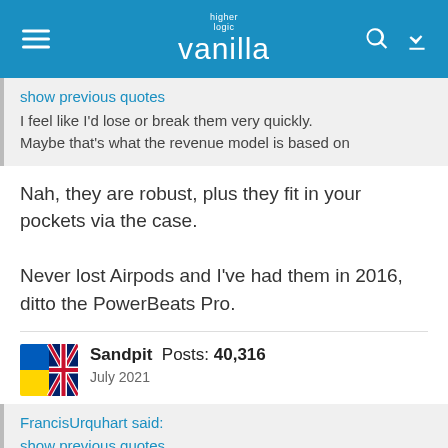higher logic vanilla
show previous quotes
I feel like I'd lose or break them very quickly. Maybe that's what the revenue model is based on
Nah, they are robust, plus they fit in your pockets via the case.

Never lost Airpods and I've had them in 2016, ditto the PowerBeats Pro.
Sandpit  Posts: 40,316
July 2021
FrancisUrquhart said:
show previous quotes